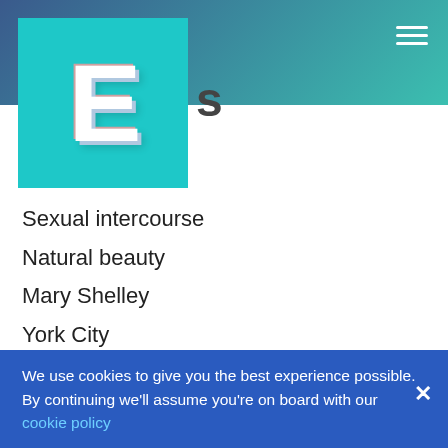[Figure (logo): E logo in 3D style on teal/cyan square background, with partial letter 's' visible to the right]
Sexual intercourse
Natural beauty
Mary Shelley
York City
Making decisions
Hundred years
Role
Life penalty
This part
Other person
History
We use cookies to give you the best experience possible. By continuing we'll assume you're on board with our cookie policy